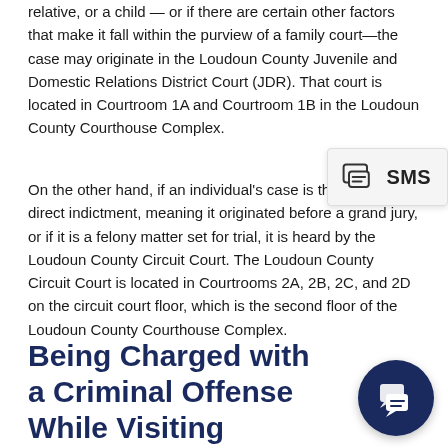relative, or a child — or if there are certain other factors that make it fall within the purview of a family court—the case may originate in the Loudoun County Juvenile and Domestic Relations District Court (JDR). That court is located in Courtroom 1A and Courtroom 1B in the Loudoun County Courthouse Complex.
On the other hand, if an individual's case is the subject of direct indictment, meaning it originated before a grand jury, or if it is a felony matter set for trial, it is heard by the Loudoun County Circuit Court. The Loudoun County Circuit Court is located in Courtrooms 2A, 2B, 2C, and 2D on the circuit court floor, which is the second floor of the Loudoun County Courthouse Complex.
[Figure (other): SMS tooltip popup with chat icon and SMS label]
Being Charged with a Criminal Offense While Visiting Loudoun County
[Figure (other): Dark navy circular chat button with speech bubble icon]